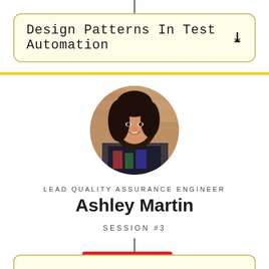Design Patterns In Test Automation
[Figure (photo): Circular profile photo of Ashley Martin, a woman with dark wavy hair, smiling, against a brick wall background]
LEAD QUALITY ASSURANCE ENGINEER
Ashley Martin
SESSION #3
NEED HELP?